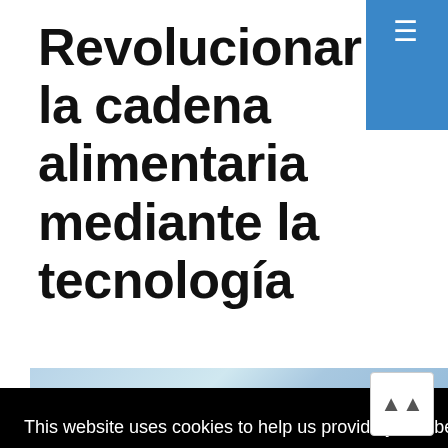Revolucionar la cadena alimentaria mediante la tecnología
[Figure (screenshot): Blue hamburger menu button in top right corner of webpage]
This website uses cookies to help us provide you a better experience. By clicking any link on this page you are giving your consent for us to set cookies. Learn more
Got it!
[Figure (photo): Partial image visible at bottom of page showing a coastal or beach scene with blue tones, partially obscured by cookie banner]